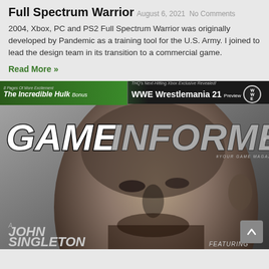Full Spectrum Warrior
August 6, 2021  No Comments
2004, Xbox, PC and PS2 Full Spectrum Warrior was originally developed by Pandemic as a training tool for the U.S. Army. I joined to lead the design team in its transition to a commercial game.
Read More »
[Figure (photo): Game Informer magazine cover featuring a person, with banner strips showing The Incredible Hulk and WWE Wrestlemania 21, and text 'A John Singleton Game' and 'Featuring' at bottom. Back-to-top arrow button visible in lower right.]